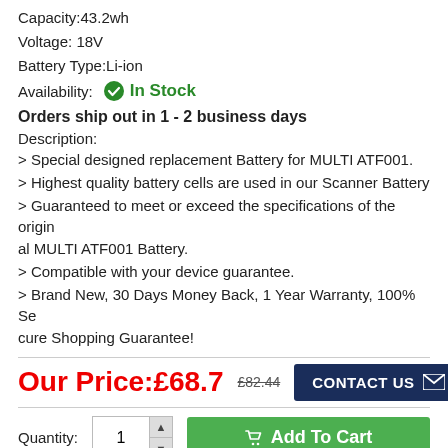Capacity:43.2wh
Voltage: 18V
Battery Type:Li-ion
Availability:   In Stock
Orders ship out in 1 - 2 business days
Description:
> Special designed replacement Battery for MULTI ATF001.
> Highest quality battery cells are used in our Scanner Battery
> Guaranteed to meet or exceed the specifications of the original MULTI ATF001 Battery.
> Compatible with your device guarantee.
> Brand New, 30 Days Money Back, 1 Year Warranty, 100% Secure Shopping Guarantee!
Our Price:£68.7  £82.44  CONTACT US
Quantity:  1   Add To Cart